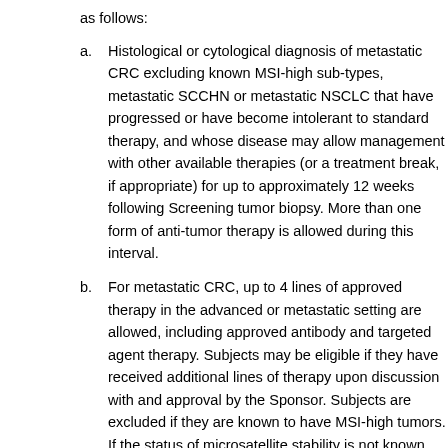as follows:
a. Histological or cytological diagnosis of metastatic CRC excluding known MSI-high sub-types, metastatic SCCHN or metastatic NSCLC that have progressed or have become intolerant to standard therapy, and whose disease may allow management with other available therapies (or a treatment break, if appropriate) for up to approximately 12 weeks following Screening tumor biopsy. More than one form of anti-tumor therapy is allowed during this interval.
b. For metastatic CRC, up to 4 lines of approved therapy in the advanced or metastatic setting are allowed, including approved antibody and targeted agent therapy. Subjects may be eligible if they have received additional lines of therapy upon discussion with and approval by the Sponsor. Subjects are excluded if they are known to have MSI-high tumors. If the status of microsatellite stability is not known, subjects are